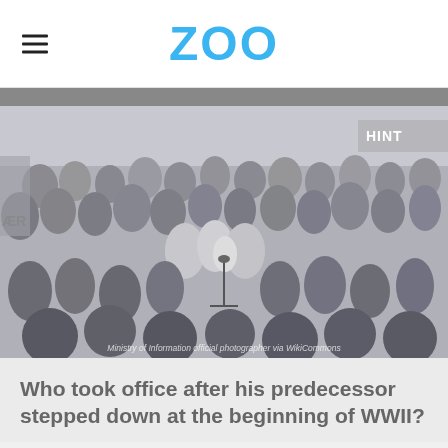ZOO
[Figure (photo): Black and white historical photograph of a large crowd gathered outdoors, with a speaker at a podium or microphone stand in the center. A 'HINT' badge appears in the upper right corner. Photo credit: Ministry of Information official photographer via WikiCommons.]
Ministry of Information official photographer via WikiCommons
Who took office after his predecessor stepped down at the beginning of WWII?